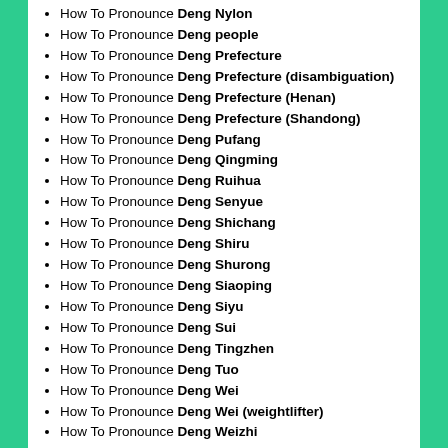How To Pronounce Deng Nylon
How To Pronounce Deng people
How To Pronounce Deng Prefecture
How To Pronounce Deng Prefecture (disambiguation)
How To Pronounce Deng Prefecture (Henan)
How To Pronounce Deng Prefecture (Shandong)
How To Pronounce Deng Pufang
How To Pronounce Deng Qingming
How To Pronounce Deng Ruihua
How To Pronounce Deng Senyue
How To Pronounce Deng Shichang
How To Pronounce Deng Shiru
How To Pronounce Deng Shurong
How To Pronounce Deng Siaoping
How To Pronounce Deng Siyu
How To Pronounce Deng Sui
How To Pronounce Deng Tingzhen
How To Pronounce Deng Tuo
How To Pronounce Deng Wei
How To Pronounce Deng Wei (weightlifter)
How To Pronounce Deng Weizhi
How To Pronounce Deng Wendi